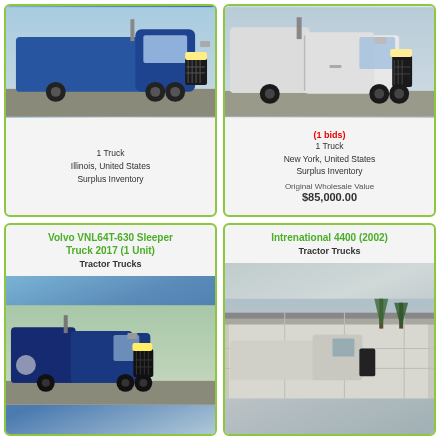[Figure (photo): Blue Freightliner tractor truck, front 3/4 view, parked in lot]
1 Truck
Illinois, United States
Surplus Inventory
[Figure (photo): White Freightliner tractor truck with sleeper cab, side view]
(1 bids)
1 Truck
New York, United States
Surplus Inventory
Original Wholesale Value
$85,000.00
Volvo VNL64T-630 Sleeper Truck 2017 (1 Unit)
Tractor Trucks
[Figure (photo): Blue Volvo VNL sleeper truck, front 3/4 view]
Intrenational 4400 (2002)
Tractor Trucks
[Figure (photo): White/silver tractor truck, partial side view near warehouse building]